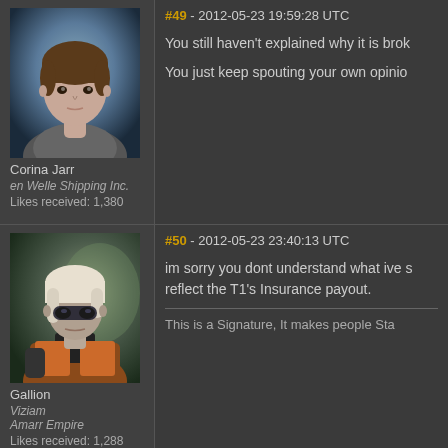[Figure (photo): Avatar portrait of Corina Jarr - female character with short brown hair in sci-fi setting]
Corina Jarr
en Welle Shipping Inc.
Likes received: 1,380
#49 - 2012-05-23 19:59:28 UTC
You still haven't explained why it is bro
You just keep spouting your own opinio
[Figure (photo): Avatar portrait of Gallion - male character with white/blonde hair in orange and black armor]
Gallion
Viziam
Amarr Empire
Likes received: 1,288
#50 - 2012-05-23 23:40:13 UTC
im sorry you dont understand what ive s reflect the T1's Insurance payout.
This is a Signature, It makes people Sta